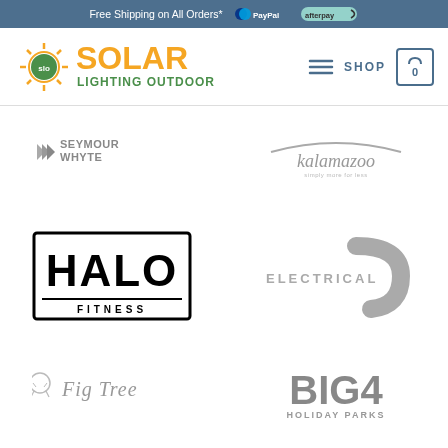Free Shipping on All Orders* | PayPal | afterpay
[Figure (logo): Solar Lighting Outdoor logo with sun icon, SOLAR in orange, LIGHTING OUTDOOR in green]
[Figure (logo): Navigation with hamburger menu, SHOP text, cart icon with 0]
[Figure (logo): Seymour Whyte logo - grey text with arrow/wave icon]
[Figure (logo): Kalamazoo logo - grey italic text with arc]
[Figure (logo): HALO FITNESS logo - black block letters on white with black border]
[Figure (logo): Electrical G logo - grey text with stylized G arc]
[Figure (logo): Fig Tree logo - decorative script with tree icon]
[Figure (logo): BIG4 Holiday Parks logo - bold grey text]